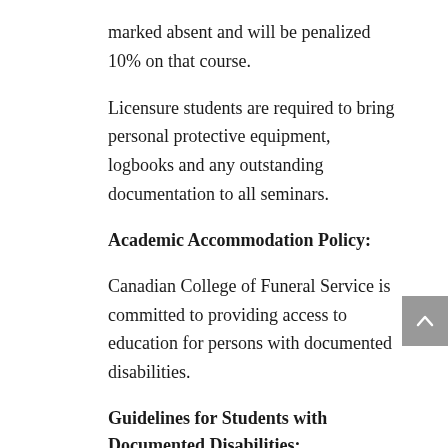marked absent and will be penalized 10% on that course.
Licensure students are required to bring personal protective equipment, logbooks and any outstanding documentation to all seminars.
Academic Accommodation Policy:
Canadian College of Funeral Service is committed to providing access to education for persons with documented disabilities.
Guidelines for Students with Documented Disabilities:
Canadian College of Funeral Service will provide appropriate and reasonable accommodations